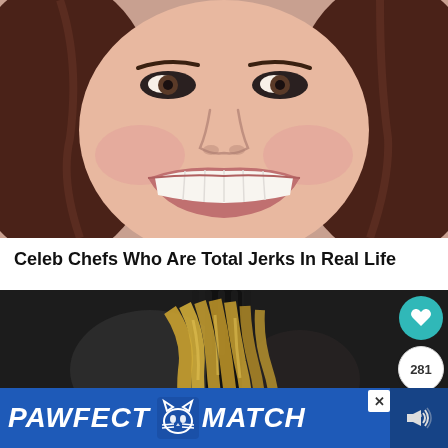[Figure (photo): Close-up photo of a smiling woman with brown hair, wide smile showing white teeth, appearing to be a celebrity chef]
Celeb Chefs Who Are Total Jerks In Real Life
[Figure (photo): Close-up photo of pasta noodles wrapped around a fork against a dark background, with social interaction buttons (heart, 281 count, share) on the right side]
PAWFECT MATCH
[Figure (advertisement): Blue advertisement banner at bottom reading PAWFECT MATCH with a cat icon, with an X close button in top right corner]